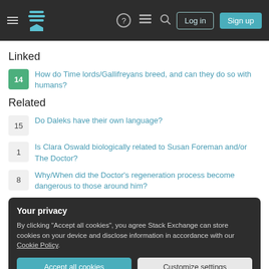Stack Exchange navigation bar with Log in and Sign up buttons
Linked
14 — How do Time lords/Gallifreyans breed, and can they do so with humans?
Related
15 — Do Daleks have their own language?
1 — Is Clara Oswald biologically related to Susan Foreman and/or The Doctor?
8 — Why/When did the Doctor's regeneration process become dangerous to those around him?
Your privacy
By clicking "Accept all cookies", you agree Stack Exchange can store cookies on your device and disclose information in accordance with our Cookie Policy.
4 — Did the Doctor knowingly kill an innocent being?